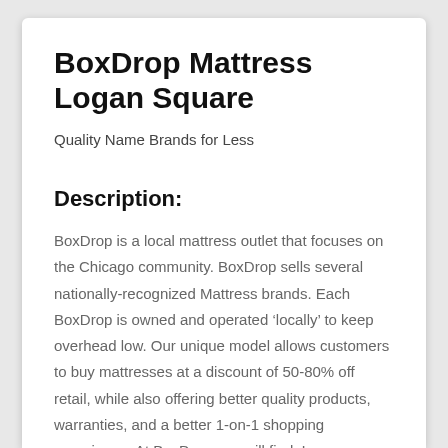BoxDrop Mattress Logan Square
Quality Name Brands for Less
Description:
BoxDrop is a local mattress outlet that focuses on the Chicago community. BoxDrop sells several nationally-recognized Mattress brands. Each BoxDrop is owned and operated ‘locally’ to keep overhead low. Our unique model allows customers to buy mattresses at a discount of 50-80% off retail, while also offering better quality products, warranties, and a better 1-on-1 shopping experience. At BoxDrop you will find: Inner